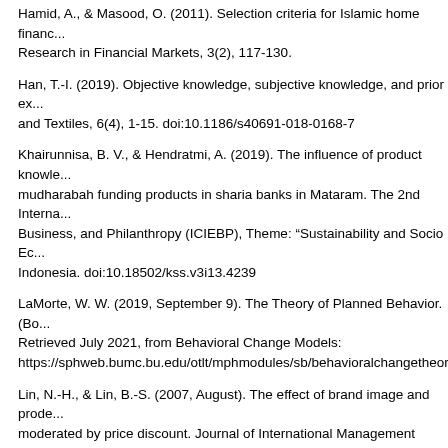Hamid, A., & Masood, O. (2011). Selection criteria for Islamic home financ... Research in Financial Markets, 3(2), 117-130.
Han, T.-I. (2019). Objective knowledge, subjective knowledge, and prior ex... and Textiles, 6(4), 1-15. doi:10.1186/s40691-018-0168-7
Khairunnisa, B. V., & Hendratmi, A. (2019). The influence of product knowle... mudharabah funding products in sharia banks in Mataram. The 2nd Interna... Business, and Philanthropy (ICIEBP), Theme: "Sustainability and Socio Ec... Indonesia. doi:10.18502/kss.v3i13.4239
LaMorte, W. W. (2019, September 9). The Theory of Planned Behavior. (Bo... Retrieved July 2021, from Behavioral Change Models: https://sphweb.bumc.bu.edu/otlt/mphmodules/sb/behavioralchangetheories...
Lin, N.-H., & Lin, B.-S. (2007, August). The effect of brand image and prode... moderated by price discount. Journal of International Management Studies...
Livette, M. (2006). Retirement housing for sale and differences in the decis... or marital status. Property Management, 24(1), 7-19. doi:10.1108/0263747...
Md-Taib, F., Ramayah, T., & Razak, D. A. (2008). Factors influencing intent... financing. International Journal of Islamic and Middle Eastern Finance and... doi:10.1108/17538390810901168
Ostrom, T. M. (1969). The Relationship between the Affective, Behavioral, a... of Experimental Social Psychology, 12-30.